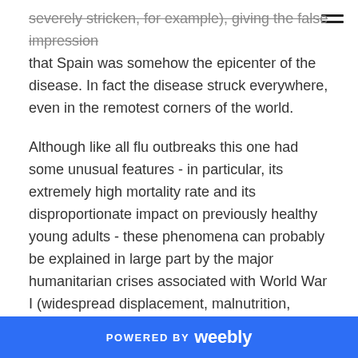severely stricken, for example), giving the false impression that Spain was somehow the epicenter of the disease. In fact the disease struck everywhere, even in the remotest corners of the world.
Although like all flu outbreaks this one had some unusual features - in particular, its extremely high mortality rate and its disproportionate impact on previously healthy young adults - these phenomena can probably be explained in large part by the major humanitarian crises associated with World War I (widespread displacement, malnutrition, overcrowded medical camps and hospitals, poor hygiene), which not only facilitated spread of the virus but also increased susceptibility to secondary bacterial infections like pneumonia. Evidence on whether
POWERED BY weebly